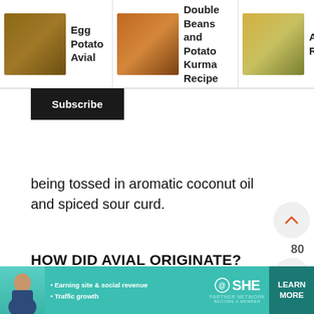[Figure (screenshot): Top banner with three recipe cards: Egg Potato Avial, Double Beans and Potato Kurma Recipe, Avial Recipe, with a right arrow navigation button]
Subscribe
being tossed in aromatic coconut oil and spiced sour curd.
HOW DID AVIAL ORIGINATE?
Avial is also a seasonal vegetable mash cooked in a simple coconut gravy. According to legend, Avial was created by the great Pandava Bhima during their exile. During The Great
[Figure (screenshot): Bottom advertisement banner for SHE Partner Network with teal background, woman photo, bullet points about earning and traffic growth, SHE logo, and LEARN MORE button]